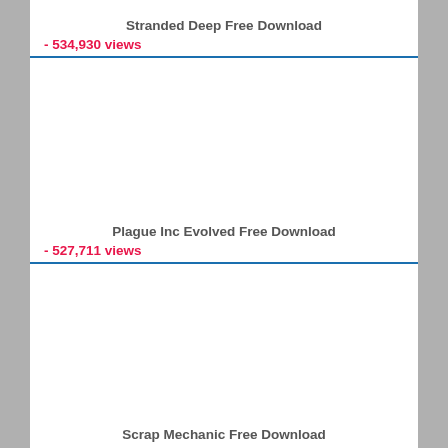Stranded Deep Free Download
- 534,930 views
Plague Inc Evolved Free Download
- 527,711 views
Scrap Mechanic Free Download
- 476,689 views